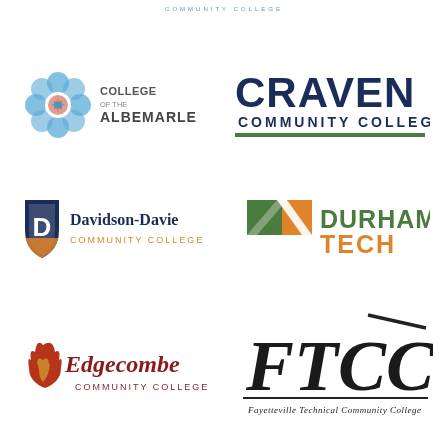COMMUNITY COLLEGE
[Figure (logo): College of the Albemarle logo with blue geometric flower icon and text COLLEGE OF THE ALBEMARLE]
[Figure (logo): Craven Community College logo with large bold CRAVEN text and COMMUNITY COLLEGE below with green underline]
[Figure (logo): Davidson-Davie Community College logo with navy shield icon bearing letter D and text Davidson-Davie COMMUNITY COLLEGE]
[Figure (logo): Durham Tech logo with green and orange geometric arrow/K shape icon and text DURHAM TECH in green and orange]
[Figure (logo): Edgecombe Community College logo with red flame/leaf icon and italic red Edgecombe COMMUNITY COLLEGE text]
[Figure (logo): FTCC logo with large stylized FTCC letters and Fayetteville Technical Community College text below with diagonal line accent]